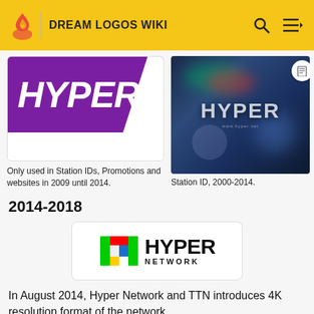DREAM LOGOS WIKI
[Figure (logo): HYPER logo on purple background with white wedge cutout, inside white rounded box]
Only used in Station IDs, Promotions and websites in 2009 until 2014.
[Figure (screenshot): HYPER text on dark blurry colorful background, Station ID screen]
Station ID, 2000-2014.
2014-2018
[Figure (logo): Hyper Network logo: colorful H icon with HYPER NETWORK text on white rounded box]
In August 2014, Hyper Network and TTN introduces 4K resolution format of the network.
[Figure (logo): Bottom strip with green and red bars followed by hypernetwork text in black]